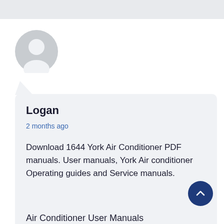[Figure (illustration): Gray circular avatar icon with a generic person silhouette]
Logan
2 months ago
Download 1644 York Air Conditioner PDF manuals. User manuals, York Air conditioner Operating guides and Service manuals.
Air Conditioner User Manuals